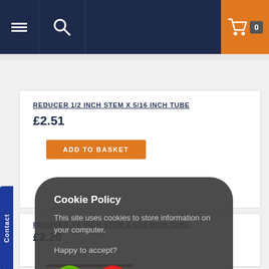Navigation bar with hamburger menu, search icon, and shopping cart (0 items)
REDUCER 1/2 INCH STEM X 5/16 INCH TUBE
£2.51
ADD TO BASKET
REDUCER 3/8 INCH STEM X 5/16 INCH TUBE
£2.20
ADD TO BASKET
[Figure (screenshot): Cookie policy popup overlay: title 'Cookie Policy', body text 'This site uses cookies to store information on your computer.', prompt 'Happy to accept?', green checkmark button and red X button]